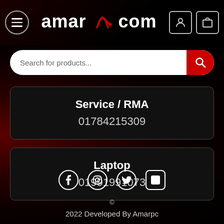[Figure (screenshot): AmarPC website header with hamburger menu icon, amarpc.com logo with red PC icon, user account icon, and shopping bag icon]
[Figure (screenshot): Search bar with placeholder text 'Search for products...' and red search button]
Service / RMA
01784215309
Laptop
01991991073
[Figure (illustration): Social media icons: Facebook, Instagram, Twitter, LinkedIn]
© 2022 Developed By Amarpc